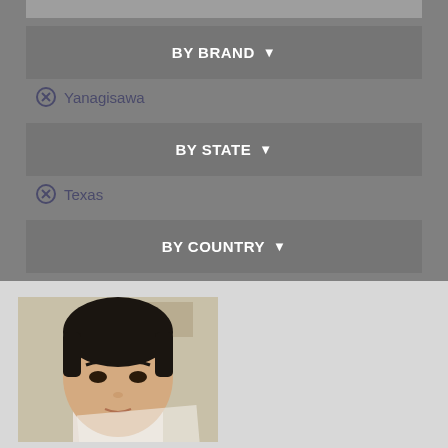BY BRAND ▾
⊗ Yanagisawa
BY STATE ▾
⊗ Texas
BY COUNTRY ▾
[Figure (photo): Headshot photo of a young Asian man looking at camera, indoors background]
WILLIAM CHIEN